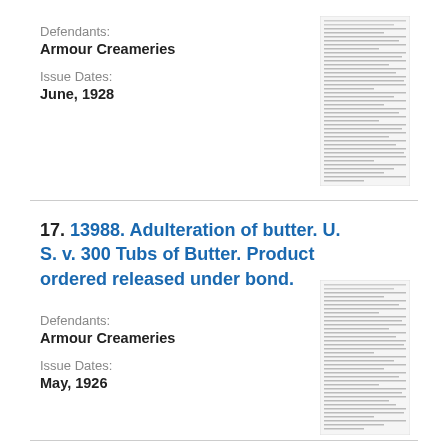Defendants:
Armour Creameries

Issue Dates:
June, 1928
[Figure (illustration): Thumbnail image of a legal document page with dense text]
17. 13988. Adulteration of butter. U. S. v. 300 Tubs of Butter. Product ordered released under bond.
Defendants:
Armour Creameries

Issue Dates:
May, 1926
[Figure (illustration): Thumbnail image of a legal document page with dense text]